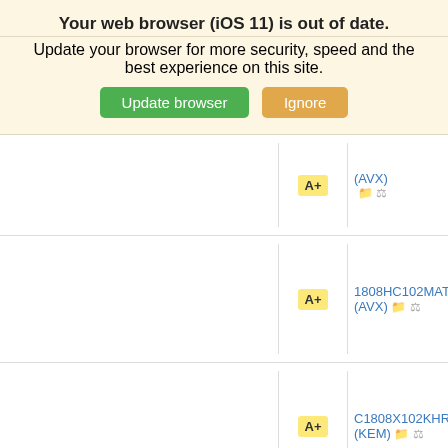Your web browser (iOS 11) is out of date.
Update your browser for more security, speed and the best experience on this site.
[Figure (screenshot): Two buttons: a green 'Update browser' button and an orange 'Ignore' button]
|  | A+ | (AVX) [icons] |
|  | A+ | 1808HC102MAT2A (AVX) [icons] |
|  | A+ | C1808X102KHRAC (KEM) [icons] |
|  | A+ | 1808HC102KAZ1A (AVX) [icons] |